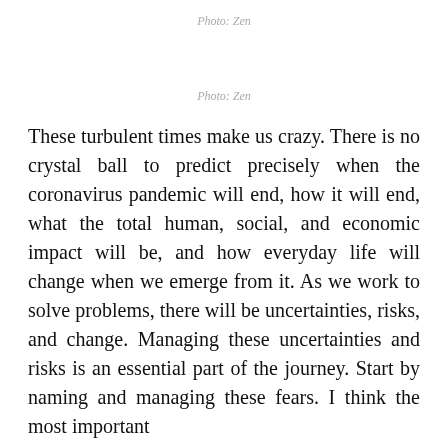Photo: Zen
Photo: Zen
These turbulent times make us crazy. There is no crystal ball to predict precisely when the coronavirus pandemic will end, how it will end, what the total human, social, and economic impact will be, and how everyday life will change when we emerge from it. As we work to solve problems, there will be uncertainties, risks, and change. Managing these uncertainties and risks is an essential part of the journey. Start by naming and managing these fears. I think the most important